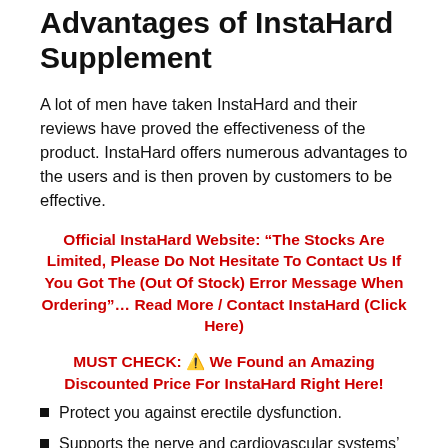Advantages of InstaHard Supplement
A lot of men have taken InstaHard and their reviews have proved the effectiveness of the product. InstaHard offers numerous advantages to the users and is then proven by customers to be effective.
Official InstaHard Website: “The Stocks Are Limited, Please Do Not Hesitate To Contact Us If You Got The (Out Of Stock) Error Message When Ordering”… Read More / Contact InstaHard (Click Here)
MUST CHECK: ⚠️ We Found an Amazing Discounted Price For InstaHard Right Here!
Protect you against erectile dysfunction.
Supports the nerve and cardiovascular systems’